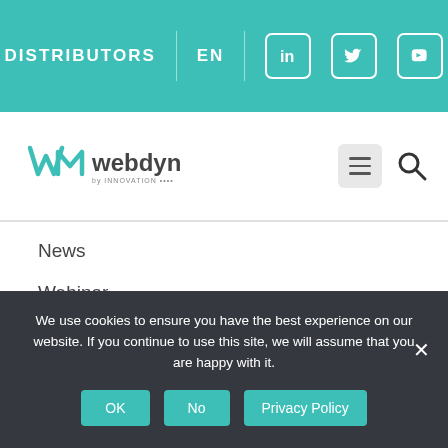DISTRIBUTORS | EN | LinkedIn | Twitter | YouTube
[Figure (logo): Webdyn logo with WM icon and hamburger menu and search icon]
News
Webinar
Application cases
Success stories
M2M & IoT articles
Events
Media library
We use cookies to ensure you have the best experience on our website. If you continue to use this site, we will assume that you are happy with it.
OK | No | Privacy Policy